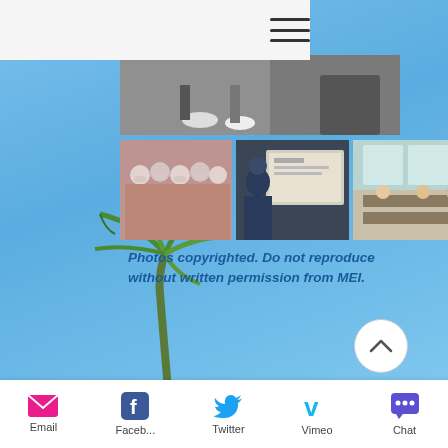[Figure (screenshot): Website navigation bar with hamburger menu icon]
[Figure (photo): Top photo strip showing classroom/feet scene]
[Figure (photo): Three thumbnail photos: group of masked students, person at presentation screen, students at tables]
Photos copyrighted. Do not reproduce without written permission from MEI.
[Figure (photo): Background sky with palm tree, scroll-to-top button]
Email  Faceb...  Twitter  Vimeo  Chat